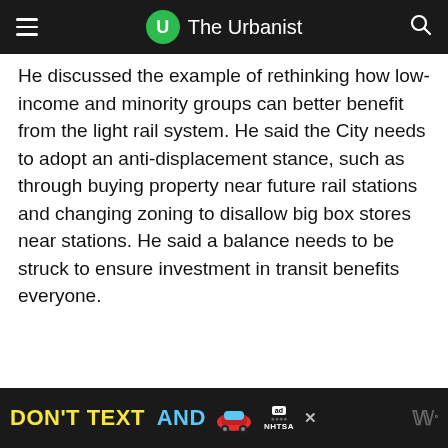The Urbanist
He discussed the example of rethinking how low-income and minority groups can better benefit from the light rail system. He said the City needs to adopt an anti-displacement stance, such as through buying property near future rail stations and changing zoning to disallow big box stores near stations. He said a balance needs to be struck to ensure investment in transit benefits everyone.
[Figure (other): Advertisement banner: DON'T TEXT AND (car emoji) ad with NHTSA logo]
DON'T TEXT AND [car] ad NHTSA